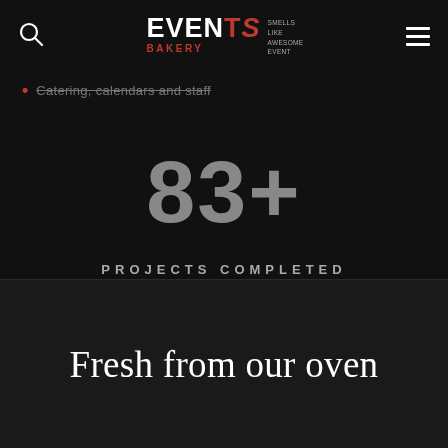EVENTS BAKERY — SMELLS LIKE AWESOME EVENT
Catering, calendars and staff
83+
PROJECTS COMPLETED
Fresh from our oven